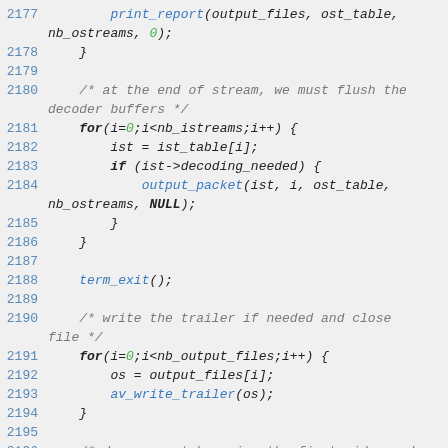[Figure (screenshot): Source code listing lines 2177-2196, C code with syntax highlighting on a light gray background. Shows code for flushing decoder buffers, writing trailer, and dumping report.]